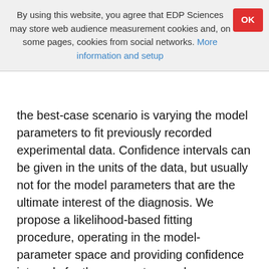By using this website, you agree that EDP Sciences may store web audience measurement cookies and, on some pages, cookies from social networks. More information and setup
the best-case scenario is varying the model parameters to fit previously recorded experimental data. Confidence intervals can be given in the units of the data, but usually not for the model parameters that are the ultimate interest of the diagnosis. We propose a likelihood-based fitting procedure, operating in the model-parameter space and providing confidence intervals for the parameters under diagnosis. The procedure is capable of running parallel to the measurement, and can adaptively set test parameters to the values that are expected to provide the most diagnostic information. Using the pre-defined acceptable confidence interval, the experiment continues until the goal is reached. As an example, the approach was tested with a simplistic three-parameter auditory model and a psychoacoustic binaural